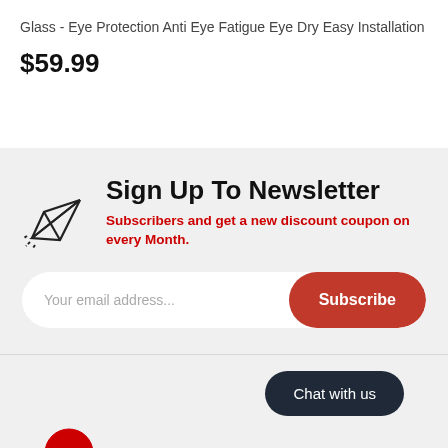Glass - Eye Protection Anti Eye Fatigue Eye Dry Easy Installation
$59.99
Sign Up To Newsletter
Subscribers and get a new discount coupon on every Month.
Your email address...
Subscribe
Chat with us